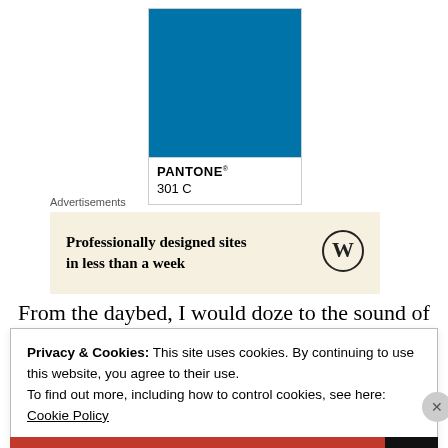[Figure (illustration): Pantone color swatch showing PANTONE 301 C, a medium-dark blue color, with white label area below]
Advertisements
[Figure (infographic): Advertisement banner with beige background showing text 'Professionally designed sites in less than a week' with WordPress logo circle icon on the right]
From the daybed, I would doze to the sound of the
Privacy & Cookies: This site uses cookies. By continuing to use this website, you agree to their use.
To find out more, including how to control cookies, see here: Cookie Policy
Close and accept